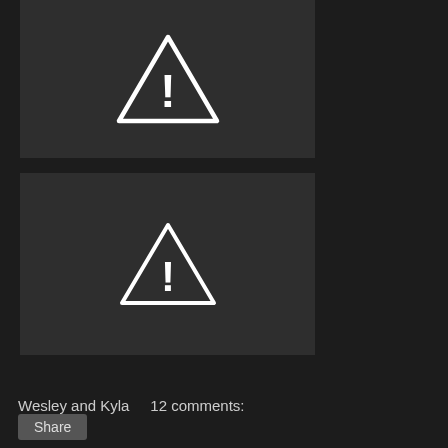[Figure (illustration): Dark gray placeholder image with a white warning triangle (exclamation mark) icon centered in the block, indicating a missing or unavailable image]
[Figure (illustration): Dark gray placeholder image with a white warning triangle (exclamation mark) icon centered in the block, indicating a missing or unavailable image]
Wesley and Kyla    12 comments:
Share